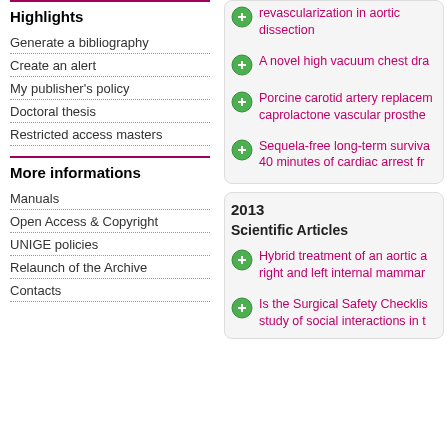Highlights
Generate a bibliography
Create an alert
My publisher's policy
Doctoral thesis
Restricted access masters
More informations
Manuals
Open Access & Copyright
UNIGE policies
Relaunch of the Archive
Contacts
revascularization in aortic dissection
A novel high vacuum chest dra
Porcine carotid artery replacement caprolactone vascular prosthe
Sequela-free long-term survival after 40 minutes of cardiac arrest fr
2013
Scientific Articles
Hybrid treatment of an aortic a right and left internal mammar
Is the Surgical Safety Checklist study of social interactions in t